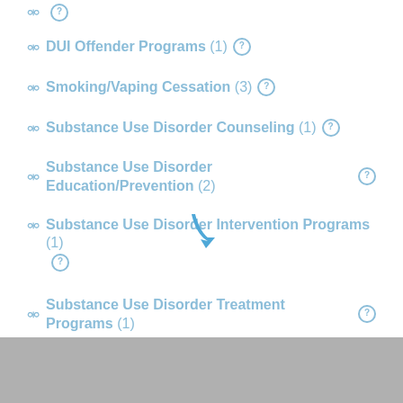DUI Offender Programs (1)
Smoking/Vaping Cessation (3)
Substance Use Disorder Counseling (1)
Substance Use Disorder Education/Prevention (2)
Substance Use Disorder Intervention Programs (1)
Substance Use Disorder Treatment Programs (1)
Tobacco Use Education/Prevention (1)